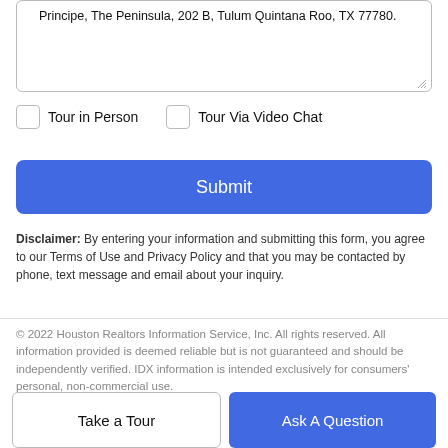Principe, The Peninsula, 202 B, Tulum Quintana Roo, TX 77780.
Tour in Person
Tour Via Video Chat
Submit
Disclaimer: By entering your information and submitting this form, you agree to our Terms of Use and Privacy Policy and that you may be contacted by phone, text message and email about your inquiry.
© 2022 Houston Realtors Information Service, Inc. All rights reserved. All information provided is deemed reliable but is not guaranteed and should be independently verified. IDX information is intended exclusively for consumers' personal, non-commercial use.
Take a Tour
Ask A Question